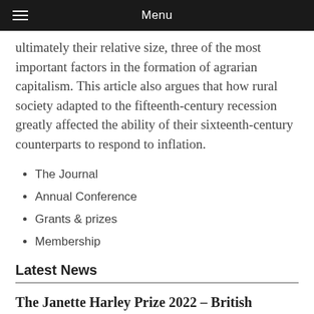Menu
ultimately their relative size, three of the most important factors in the formation of agrarian capitalism. This article also argues that how rural society adapted to the fifteenth-century recession greatly affected the ability of their sixteenth-century counterparts to respond to inflation.
The Journal
Annual Conference
Grants & prizes
Membership
Latest News
The Janette Harley Prize 2022 – British